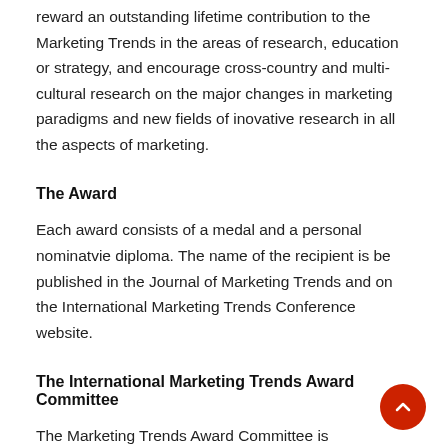reward an outstanding lifetime contribution to the Marketing Trends in the areas of research, education or strategy, and encourage cross-country and multi-cultural research on the major changes in marketing paradigms and new fields of inovative research in all the aspects of marketing.
The Award
Each award consists of a medal and a personal nominatvie diploma. The name of the recipient is be published in the Journal of Marketing Trends and on the International Marketing Trends Conference website.
The International Marketing Trends Award Committee
The Marketing Trends Award Committee is responsible for the